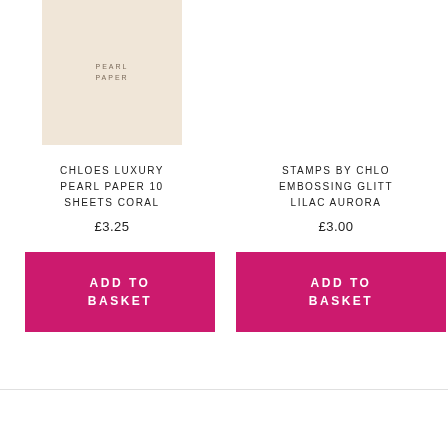[Figure (photo): Pearl paper product image - beige/cream colored paper sheet with PEARL PAPER label text]
CHLOES LUXURY PEARL PAPER 10 SHEETS CORAL
£3.25
ADD TO BASKET
STAMPS BY CHLOE EMBOSSING GLITTER LILAC AURORA
£3.00
ADD TO BASKET